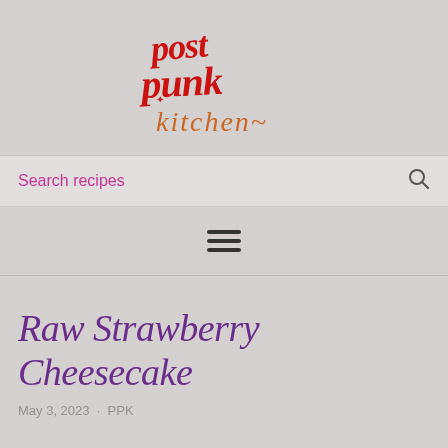[Figure (logo): Post Punk Kitchen logo in red and orange handwritten/brush lettering style on grey background]
Search recipes
[Figure (other): Hamburger menu icon (three horizontal lines)]
Raw Strawberry Cheesecake